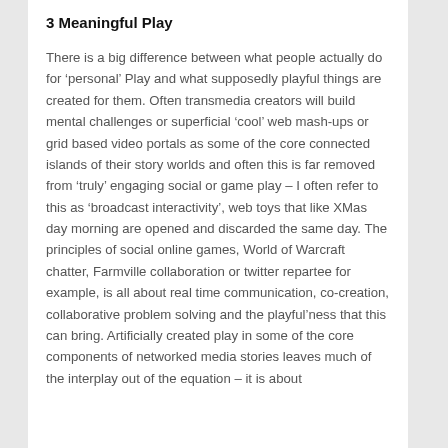3 Meaningful Play
There is a big difference between what people actually do for ‘personal’ Play and what supposedly playful things are created for them. Often transmedia creators will build mental challenges or superficial ‘cool’ web mash-ups or grid based video portals as some of the core connected islands of their story worlds and often this is far removed from ‘truly’ engaging social or game play – I often refer to this as ‘broadcast interactivity’, web toys that like XMas day morning are opened and discarded the same day. The principles of social online games, World of Warcraft chatter, Farmville collaboration or twitter repartee for example, is all about real time communication, co-creation, collaborative problem solving and the playful’ness that this can bring. Artificially created play in some of the core components of networked media stories leaves much of the interplay out of the equation – it is about